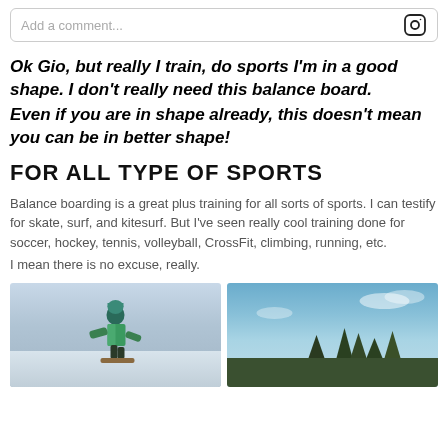Add a comment...
Ok Gio, but really I train, do sports I'm in a good shape. I don't really need this balance board.
Even if you are in shape already, this doesn't mean you can be in better shape!
FOR ALL TYPE OF SPORTS
Balance boarding is a great plus training for all sorts of sports. I can testify for skate, surf, and kitesurf. But I've seen really cool training done for soccer, hockey, tennis, volleyball, CrossFit, climbing, running, etc.
I mean there is no excuse, really.
[Figure (photo): Person in green jacket and teal beanie hat balancing on a balance board outdoors in winter]
[Figure (photo): Outdoor scene with blue sky and trees, possibly showing balance board activity]